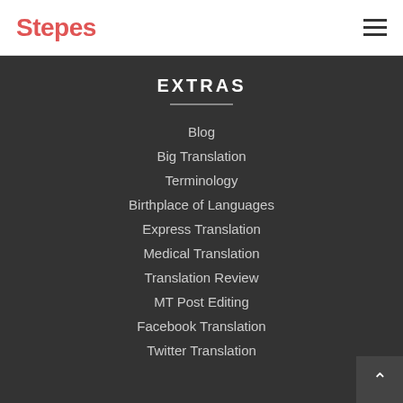Stepes
EXTRAS
Blog
Big Translation
Terminology
Birthplace of Languages
Express Translation
Medical Translation
Translation Review
MT Post Editing
Facebook Translation
Twitter Translation